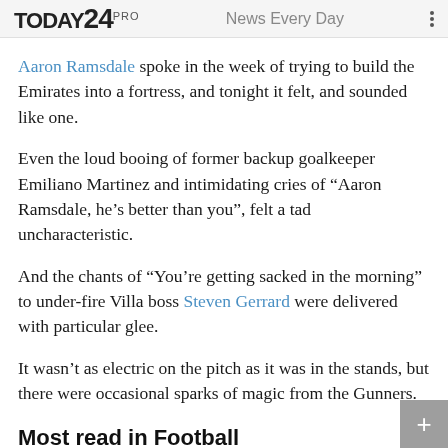TODAY24PRO  News Every Day
Aaron Ramsdale spoke in the week of trying to build the Emirates into a fortress, and tonight it felt, and sounded like one.
Even the loud booing of former backup goalkeeper Emiliano Martinez and intimidating cries of “Aaron Ramsdale, he’s better than you”, felt a tad uncharacteristic.
And the chants of “You’re getting sacked in the morning” to under-fire Villa boss Steven Gerrard were delivered with particular glee.
It wasn’t as electric on the pitch as it was in the stands, but there were occasional sparks of magic from the Gunners.
Most read in Football
CAPTAIN'S ORDER